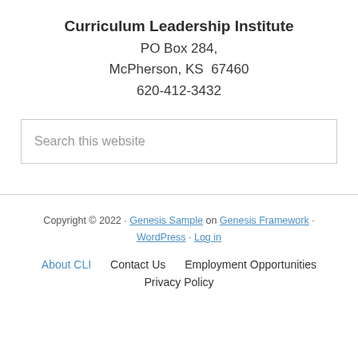Curriculum Leadership Institute
PO Box 284,
McPherson, KS  67460
620-412-3432
Search this website
Copyright © 2022 · Genesis Sample on Genesis Framework · WordPress · Log in
About CLI    Contact Us    Employment Opportunities    Privacy Policy